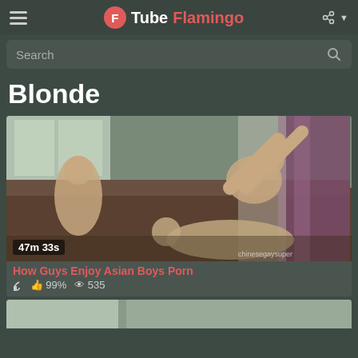Tube Flamingo
Search
Blonde
[Figure (photo): Video thumbnail showing explicit adult content with duration overlay '47m 33s']
How Guys Enjoy Asian Boys Porn
👍 99%  👁 535
[Figure (photo): Partial thumbnail of a second video at the bottom of the page]